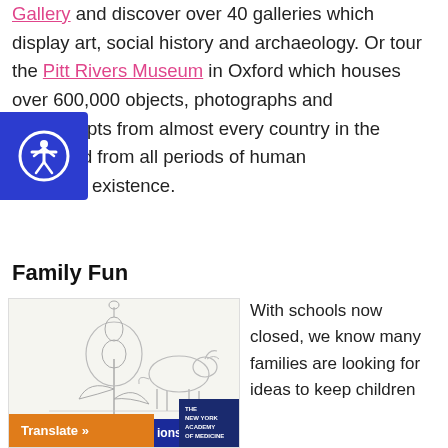Gallery and discover over 40 galleries which display art, social history and archaeology. Or tour the Pitt Rivers Museum in Oxford which houses over 600,000 objects, photographs and manuscripts from almost every country in the world and from all periods of human existence.
[Figure (illustration): Accessibility button - circular icon with person with arms raised, on blue background]
Family Fun
[Figure (illustration): Botanical and animal illustrations showing a poppy flower, a bull/ox sketch, and New York Academy of Medicine branding. Includes a Translate button and a blue label showing 'ions'.]
With schools now closed, we know many families are looking for ideas to keep children